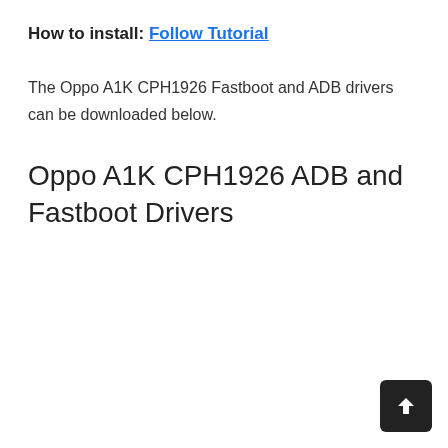How to install: Follow Tutorial
The Oppo A1K CPH1926 Fastboot and ADB drivers can be downloaded below.
Oppo A1K CPH1926 ADB and Fastboot Drivers